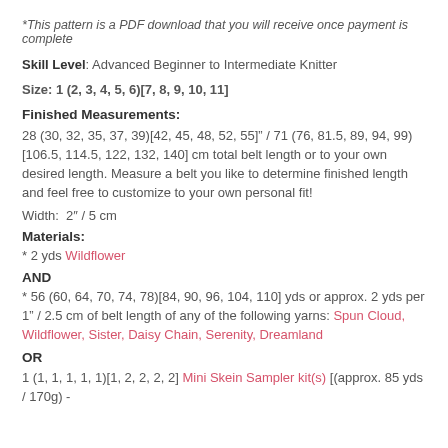*This pattern is a PDF download that you will receive once payment is complete
Skill Level: Advanced Beginner to Intermediate Knitter
Size: 1 (2, 3, 4, 5, 6)[7, 8, 9, 10, 11]
Finished Measurements:
28 (30, 32, 35, 37, 39)[42, 45, 48, 52, 55]” / 71 (76, 81.5, 89, 94, 99)[106.5, 114.5, 122, 132, 140] cm total belt length or to your own desired length. Measure a belt you like to determine finished length and feel free to customize to your own personal fit!
Width:  2″ / 5 cm
Materials:
* 2 yds Wildflower
AND
* 56 (60, 64, 70, 74, 78)[84, 90, 96, 104, 110] yds or approx. 2 yds per 1” / 2.5 cm of belt length of any of the following yarns: Spun Cloud, Wildflower, Sister, Daisy Chain, Serenity, Dreamland
OR
1 (1, 1, 1, 1, 1)[1, 2, 2, 2, 2] Mini Skein Sampler kit(s) [(approx. 85 yds / 170g) -